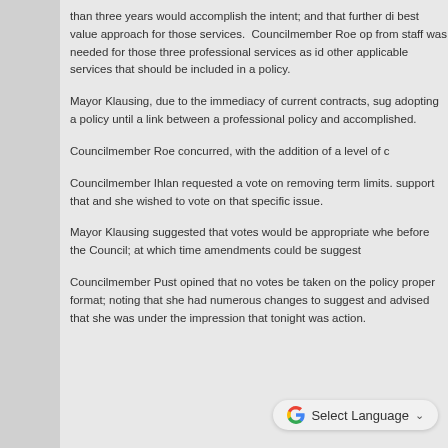than three years would accomplish the intent; and that further di best value approach for those services.  Councilmember Roe op from staff was needed for those three professional services as id other applicable services that should be included in a policy.
Mayor Klausing, due to the immediacy of current contracts, sug adopting a policy until a link between a professional policy and accomplished.
Councilmember Roe concurred, with the addition of a level of c
Councilmember Ihlan requested a vote on removing term limits. support that and she wished to vote on that specific issue.
Mayor Klausing suggested that votes would be appropriate whe before the Council; at which time amendments could be suggest
Councilmember Pust opined that no votes be taken on the policy proper format; noting that she had numerous changes to suggest and advised that she was under the impression that tonight was action.